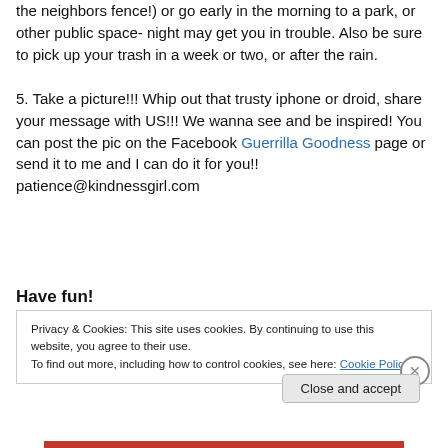the neighbors fence!) or go early in the morning to a park, or other public space- night may get you in trouble. Also be sure to pick up your trash in a week or two, or after the rain.
5. Take a picture!!! Whip out that trusty iphone or droid, share your message with US!!! We wanna see and be inspired! You can post the pic on the Facebook Guerrilla Goodness page or send it to me and I can do it for you!! patience@kindnessgirl.com
Have fun!
Privacy & Cookies: This site uses cookies. By continuing to use this website, you agree to their use.
To find out more, including how to control cookies, see here: Cookie Policy
Close and accept